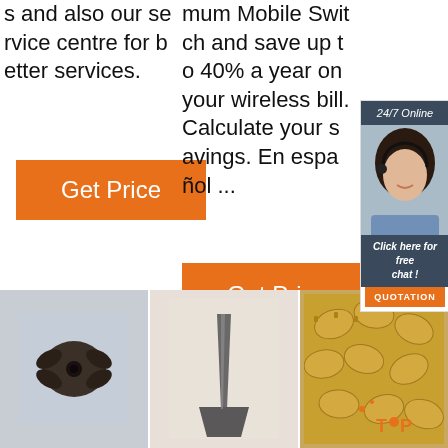s and also our service centre for better services.
[Figure (other): Orange Get Price button in left column]
mum Mobile Switch and save up to 40% a year on your wireless bill. Calculate your savings. En español ...
[Figure (other): Orange Get Price button in middle column]
[Figure (other): Right sidebar with 24/7 Online header, woman with headset photo, Click here for free chat! text, and QUOTATION orange button]
[Figure (photo): Dark drill bit piece on grey background]
[Figure (photo): Chisel or spade-shaped metal tool on white background]
[Figure (photo): Multiple gold/bronze drill bits on golden background with TOP watermark]